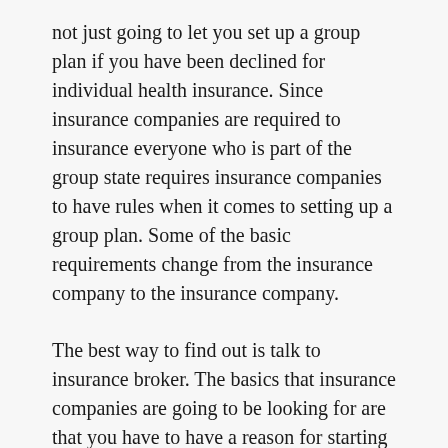not just going to let you set up a group plan if you have been declined for individual health insurance. Since insurance companies are required to insurance everyone who is part of the group state requires insurance companies to have rules when it comes to setting up a group plan. Some of the basic requirements change from the insurance company to the insurance company.
The best way to find out is talk to insurance broker. The basics that insurance companies are going to be looking for are that you have to have a reason for starting a group plan other then getting medical insurance. It is illegal to start a group plan just to get health insurance. That means that you have to have a business and that could be anything. To have a group plan you obviously have to have more then just yourself It takes at least two people to start a group plan. All the people that are going to be on the group plan are either have to be the